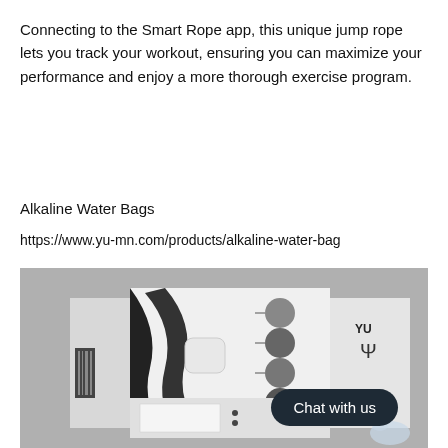Connecting to the Smart Rope app, this unique jump rope lets you track your workout, ensuring you can maximize your performance and enjoy a more thorough exercise program.
Alkaline Water Bags
https://www.yu-mn.com/products/alkaline-water-bag
[Figure (photo): Product photo of Alkaline Water Bag boxes on a gray background, showing white packaging with black design elements, YU logo, and circular ingredient images on the side panel. A 'Chat with us' button overlay is visible in the bottom-right corner.]